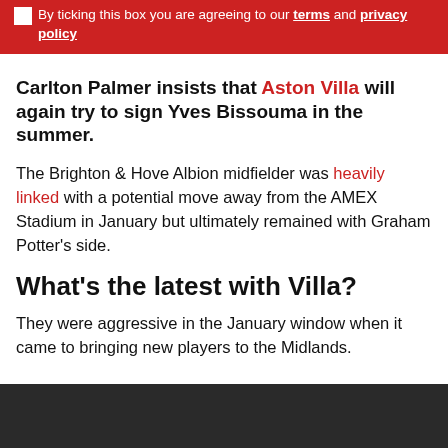By ticking this box you are agreeing to our terms and privacy policy
Carlton Palmer insists that Aston Villa will again try to sign Yves Bissouma in the summer.
The Brighton & Hove Albion midfielder was heavily linked with a potential move away from the AMEX Stadium in January but ultimately remained with Graham Potter's side.
What's the latest with Villa?
They were aggressive in the January window when it came to bringing new players to the Midlands.
[Figure (photo): Dark image block at the bottom of the page]